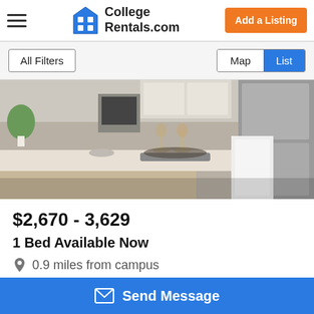College Rentals.com
All Filters | Map | List
[Figure (photo): Interior photo of a modern apartment kitchen showing a white island countertop with wine glasses, decorative tray, stainless steel appliances and cabinetry in the background.]
$2,670 - 3,629
1 Bed Available Now
0.9 miles from campus
(888) 244-6696
Send Message